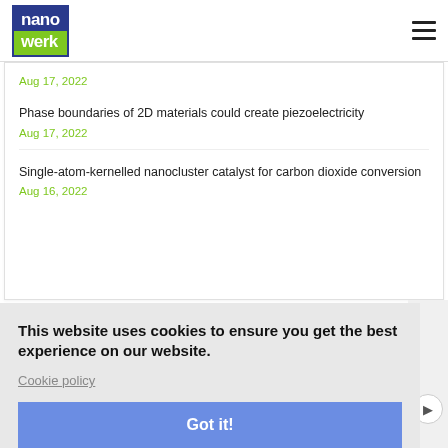nanowerk
Aug 17, 2022
Phase boundaries of 2D materials could create piezoelectricity
Aug 17, 2022
Single-atom-kernelled nanocluster catalyst for carbon dioxide conversion
Aug 16, 2022
This website uses cookies to ensure you get the best experience on our website.
Cookie policy
Got it!